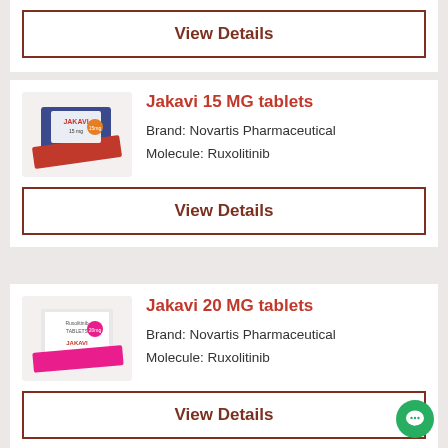View Details
Jakavi 15 MG tablets
Brand: Novartis Pharmaceutical
Molecule: Ruxolitinib
View Details
Jakavi 20 MG tablets
Brand: Novartis Pharmaceutical
Molecule: Ruxolitinib
View Details